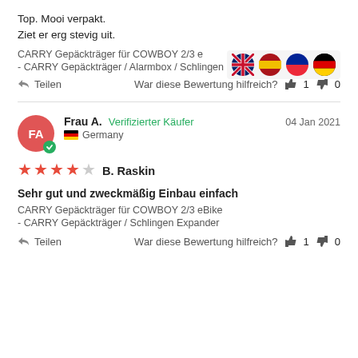Top. Mooi verpakt.
Ziet er erg stevig uit.
CARRY Gepäckträger für COWBOY 2/3 e
- CARRY Gepäckträger / Alarmbox / Schlingen Expander
Teilen   War diese Bewertung hilfreich? 👍 1 👎 0
Frau A. Verifizierter Käufer   04 Jan 2021
Germany
★★★★☆ B. Raskin
Sehr gut und zweckmäßig Einbau einfach
CARRY Gepäckträger für COWBOY 2/3 eBike
- CARRY Gepäckträger / Schlingen Expander
Teilen   War diese Bewertung hilfreich? 👍 1 👎 0